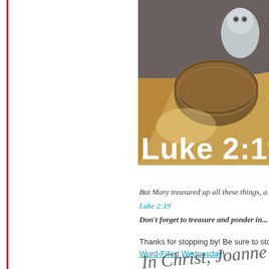[Figure (photo): Photo of a knitted/woven basket or bowl with a small owl or figurine sitting on top, warm brown and golden tones, with the text 'Luke 2:19' overlaid in large white bold font at the bottom of the image.]
But Mary treasured up all these things, a... Luke 2:19
Don't forget to treasure and ponder in...
Thanks for stopping by! Be sure to stop b... Word-Filled Wednesday!
[Figure (illustration): Cursive handwritten-style signature reading 'In Christ, Joanne']